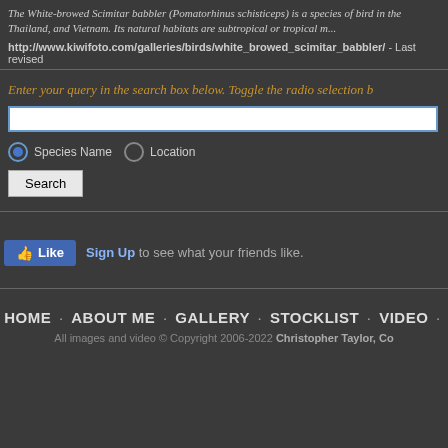The White-browed Scimitar babbler (Pomatorhinus schisticeps) is a species of bird in the Thailand, and Vietnam. Its natural habitats are subtropical or tropical m...
http://www.kiwifoto.com/galleries/birds/white_browed_scimitar_babbler/ - Last revised
Enter your query in the search box below. Toggle the radio selection b
[Figure (screenshot): Search interface with text input box, Species Name and Location radio buttons, and a Search button]
[Figure (screenshot): Facebook Like button with Sign Up link and text 'to see what your friends like.']
HOME · ABOUT ME · GALLERY · STOCKLIST · VIDEO ·
All images and video © Copyright 2006-2022 Christopher Taylor, Co